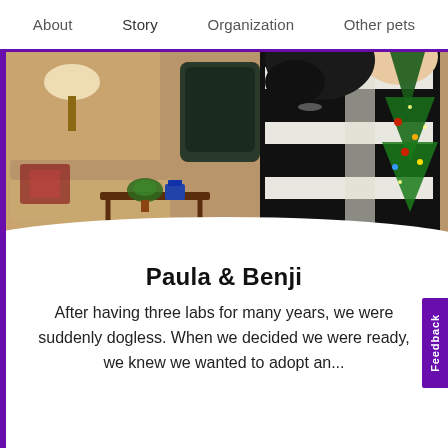About  Story  Organization  Other pets
[Figure (photo): A person wearing a black and white striped sweater hugging a large black dog, with a Christmas tree visible in the background and a living room setting with a lamp and sofa.]
Paula & Benji
After having three labs for many years, we were suddenly dogless. When we decided we were ready, we knew we wanted to adopt an...